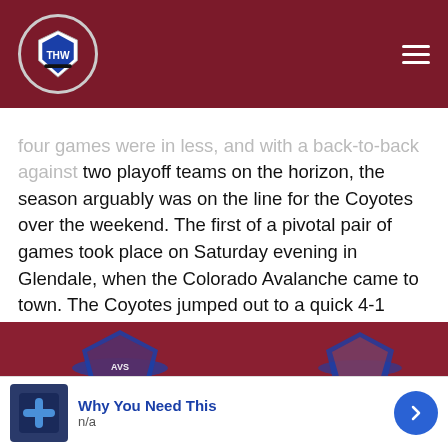THW (The Hockey Writers) site header with logo and navigation menu
four games were in less, and with a back-to-back against two playoff teams on the horizon, the season arguably was on the line for the Coyotes over the weekend. The first of a pivotal pair of games took place on Saturday evening in Glendale, when the Colorado Avalanche came to town. The Coyotes jumped out to a quick 4-1 lead, but the Avalanche came back to tie the game after pulling goaltender Phillip Grubauer in favor of rookie Pavel Francouz. However, less than five minutes after Nathan MacKinnon's game-tying goal, Brad Richardson snuck a long-range shot past Francouz, then added the empty-netter to seal a huge 6-4 Arizona victory.
[Figure (photo): Hockey jersey with Colorado Avalanche logo on dark red/maroon background]
Why You Need This
n/a